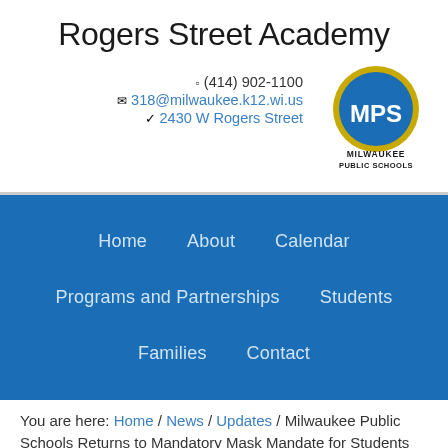Rogers Street Academy
☎ (414) 902-1100
✉ 318@milwaukee.k12.wi.us
⚲ 2430 W Rogers Street
[Figure (logo): Milwaukee Public Schools (MPS) circular logo with blue background and gold border, with text MILWAUKEE PUBLIC SCHOOLS below]
Home   About   Calendar   Programs and Partnerships   Students   Families   Contact
You are here: Home / News / Updates / Milwaukee Public Schools Returns to Mandatory Mask Mandate for Students and Staff